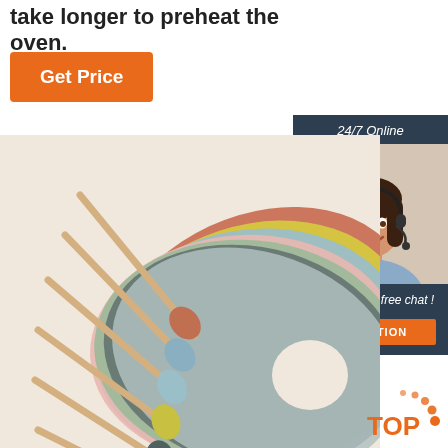take longer to preheat the oven.
[Figure (other): Orange 'Get Price' button]
[Figure (other): 24/7 online chat widget with customer service representative photo, 'Click here for free chat!' text, and orange QUOTATION button]
[Figure (photo): Product photo of colorful silicone baby bibs and matching wooden spoons with silicone tips in multiple colors (terracotta, blue, yellow, dark grey, pink, sage green) fanned out together]
[Figure (logo): TOP badge with orange dots in bottom right corner]